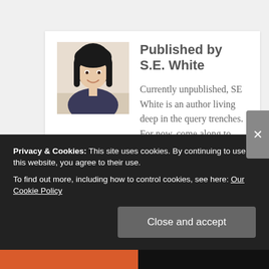Published by S.E. White
Currently unpublished, SE White is an author living deep in the query trenches. For now, come along to find hope, humor, tips, tricks and encouragement for your own writing road. Any and all
Privacy & Cookies: This site uses cookies. By continuing to use this website, you agree to their use.
To find out more, including how to control cookies, see here: Our Cookie Policy
Close and accept